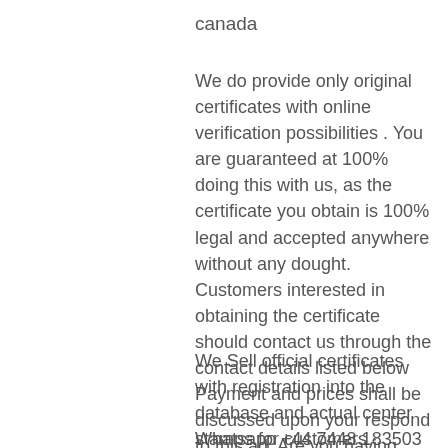canada
We do provide only original certificates with online verification possibilities . You are guaranteed at 100% doing this with us, as the certificate you obtain is 100% legal and accepted anywhere without any dought. Customers interested in obtaining the certificate should contact us through the contact details listed below Payment and prices shall be discussed upon your respond to this ad. Are you having difficulties Obtaining any International English Certificate ? We are here to help you !
We Sell official certificates with registration into the database and actual center stamps for customers interested in obtaining the
Whatsapp +44 7448 183503